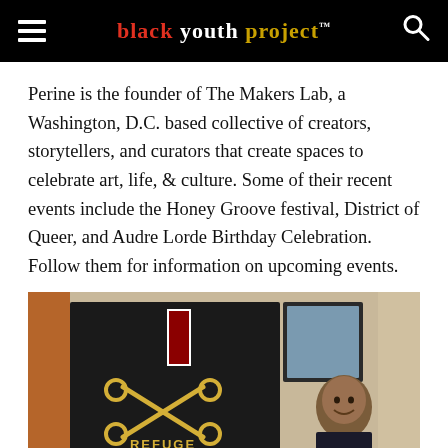black youth project™
Perine is the founder of The Makers Lab, a Washington, D.C. based collective of creators, storytellers, and curators that create spaces to celebrate art, life, & culture. Some of their recent events include the Honey Groove festival, District of Queer, and Audre Lorde Birthday Celebration. Follow them for information on upcoming events.
[Figure (photo): Photo of a young man smiling in what appears to be a barbershop setting, with a 'Refuge' barbershop sign featuring crossed scissors and combs visible in the background.]